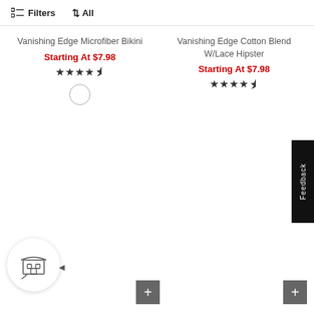Filters   ↑↓ All
Vanishing Edge Microfiber Bikini
Starting At $7.98
★★★★½
Vanishing Edge Cotton Blend W/Lace Hipster
Starting At $7.98
★★★★½